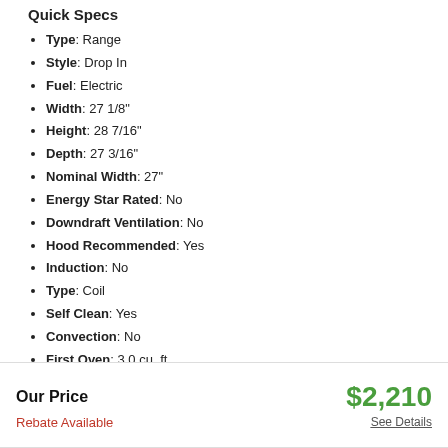Quick Specs
Type: Range
Style: Drop In
Fuel: Electric
Width: 27 1/8"
Height: 28 7/16"
Depth: 27 3/16"
Nominal Width: 27"
Energy Star Rated: No
Downdraft Ventilation: No
Hood Recommended: Yes
Induction: No
Type: Coil
Self Clean: Yes
Convection: No
First Oven: 3.0 cu. ft.
Hidden Bake Element: No
Sabbath Mode: Yes
WiFi Connected: No
See More
Our Price $2,210 Rebate Available See Details